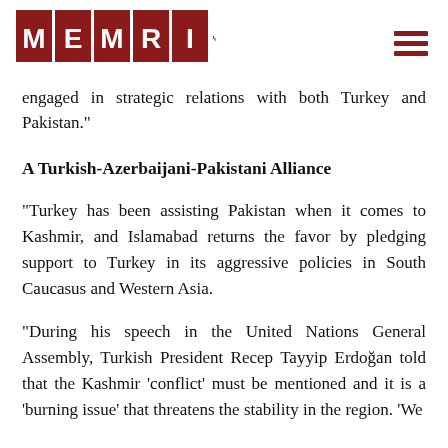MEMRI
engaged in strategic relations with both Turkey and Pakistan."
A Turkish-Azerbaijani-Pakistani Alliance
"Turkey has been assisting Pakistan when it comes to Kashmir, and Islamabad returns the favor by pledging support to Turkey in its aggressive policies in South Caucasus and Western Asia.
"During his speech in the United Nations General Assembly, Turkish President Recep Tayyip Erdoğan told that the Kashmir 'conflict' must be mentioned and it is a 'burning issue' that threatens the stability in the region. 'We